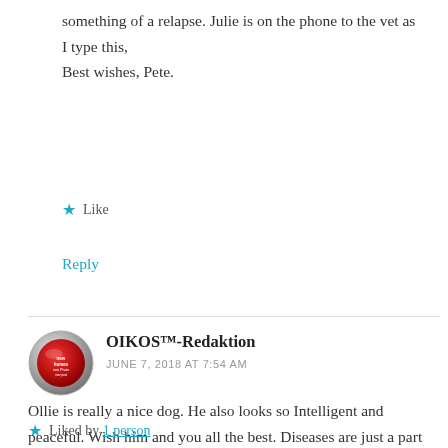something of a relapse. Julie is on the phone to the vet as I type this,
Best wishes, Pete.
Like
Reply
OIKOS™-Redaktion
JUNE 7, 2018 AT 7:54 AM
[Figure (illustration): Round avatar icon with red button design, metallic silver border]
Ollie is really a nice dog. He also looks so Intelligent and peaceful. Wish him and you all the best. Diseases are just a part of life. ;-( Michael
Liked by 1 person